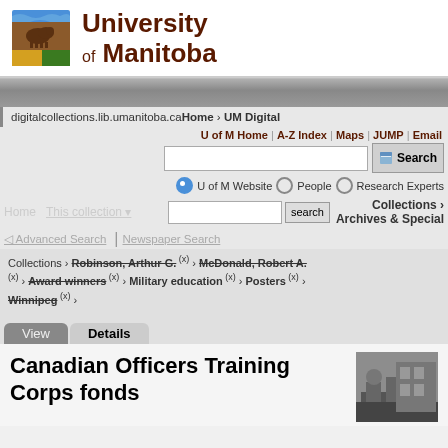[Figure (logo): University of Manitoba logo with shield and bison, text 'University of Manitoba']
digitalcollections.lib.umanitoba.ca Home › UM Digital
U of M Home | A-Z Index | Maps | JUMP | Email
U of M Website (radio) People (radio) Research Experts (radio)
Home  This collection  Advanced Search  Newspaper Search  Collections › Archives & Special
Collections › Robinson, Arthur G. (x) › McDonald, Robert A. (x) › Award winners (x) › Military education (x) › Posters (x) › Winnipeg (x) ›
View  Details
Canadian Officers Training Corps fonds